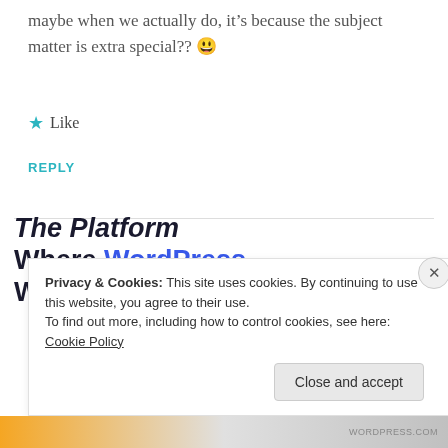maybe when we actually do, it's because the subject matter is extra special?? 😀
★ Like
REPLY
[Figure (other): Partial advertisement banner showing 'The Platform Where WordPress Works Best' with a partially visible blue 'SEE PRICING' button]
Privacy & Cookies: This site uses cookies. By continuing to use this website, you agree to their use.
To find out more, including how to control cookies, see here: Cookie Policy
Close and accept